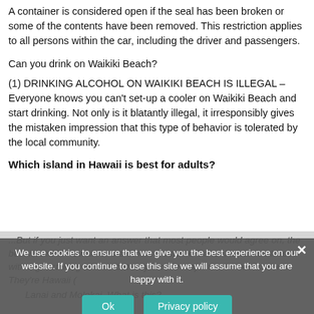A container is considered open if the seal has been broken or some of the contents have been removed. This restriction applies to all persons within the car, including the driver and passengers.
Can you drink on Waikiki Beach?
(1) DRINKING ALCOHOL ON WAIKIKI BEACH IS ILLEGAL – Everyone knows you can't set-up a cooler on Waikiki Beach and start drinking. Not only is it blatantly illegal, it irresponsibly gives the mistaken impression that this type of behavior is tolerated by the local community.
Which island in Hawaii is best for adults?
...But if you just want an answer that most people would agree on, the best island in Hawaii for the others would be Oahu. Hawaii is blessed with eight striking islands but only six are major tourist destinations. They're Hawaii (Big Island), Maui, Oahu, Kauai, Lanai and Molokai. What is this?
We use cookies to ensure that we give you the best experience on our website. If you continue to use this site we will assume that you are happy with it.